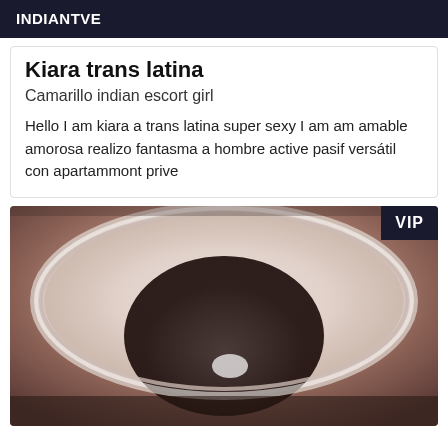INDIANTVE
Kiara trans latina
Camarillo indian escort girl
Hello I am kiara a trans latina super sexy I am am amable amorosa realizo fantasma a hombre active pasif versátil con apartammont prive
[Figure (photo): A photo showing a person reflected in a circular mirror, taken from below. The image has warm brownish tones with a VIP badge in the top right corner.]